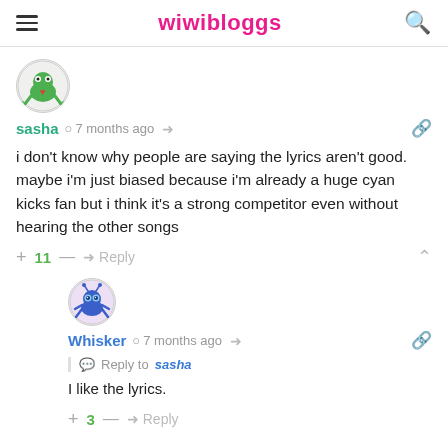wiwibloggs
[Figure (illustration): Circular avatar showing a cartoon green frog character with a red heart, for user sasha]
sasha  7 months ago
i don't know why people are saying the lyrics aren't good. maybe i'm just biased because i'm already a huge cyan kicks fan but i think it's a strong competitor even without hearing the other songs
+ 11 —  Reply
[Figure (illustration): Circular avatar showing a cartoon blue crab/spider character on purple background, for user Whisker]
Whisker  7 months ago
Reply to sasha
I like the lyrics.
+ 3 —  Reply